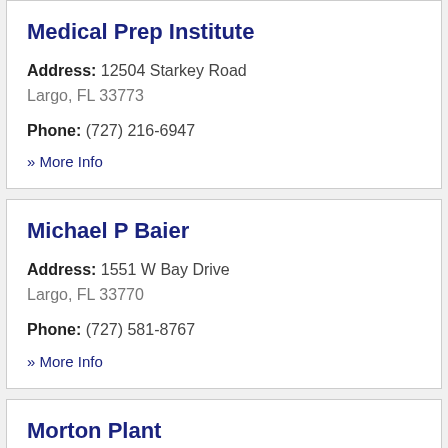Medical Prep Institute
Address: 12504 Starkey Road
Largo, FL 33773
Phone: (727) 216-6947
» More Info
Michael P Baier
Address: 1551 W Bay Drive
Largo, FL 33770
Phone: (727) 581-8767
» More Info
Morton Plant